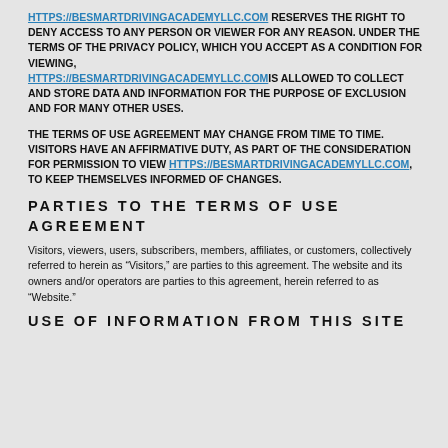https://besmartdrivingacademyllc.com RESERVES THE RIGHT TO DENY ACCESS TO ANY PERSON OR VIEWER FOR ANY REASON. UNDER THE TERMS OF THE PRIVACY POLICY, WHICH YOU ACCEPT AS A CONDITION FOR VIEWING, https://besmartdrivingacademyllc.com IS ALLOWED TO COLLECT AND STORE DATA AND INFORMATION FOR THE PURPOSE OF EXCLUSION AND FOR MANY OTHER USES.
THE TERMS OF USE AGREEMENT MAY CHANGE FROM TIME TO TIME. VISITORS HAVE AN AFFIRMATIVE DUTY, AS PART OF THE CONSIDERATION FOR PERMISSION TO VIEW https://besmartdrivingacademyllc.com, TO KEEP THEMSELVES INFORMED OF CHANGES.
PARTIES TO THE TERMS OF USE AGREEMENT
Visitors, viewers, users, subscribers, members, affiliates, or customers, collectively referred to herein as “Visitors,” are parties to this agreement. The website and its owners and/or operators are parties to this agreement, herein referred to as “Website.”
USE OF INFORMATION FROM THIS SITE